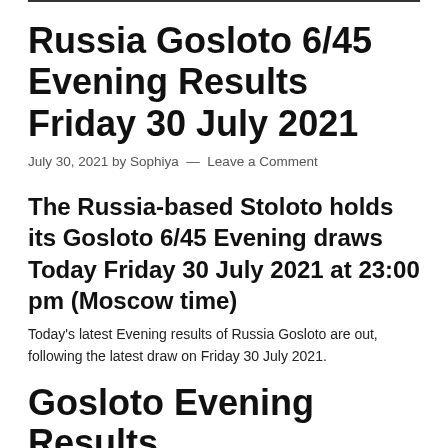Russia Gosloto 6/45 Evening Results Friday 30 July 2021
July 30, 2021 by Sophiya — Leave a Comment
The Russia-based Stoloto holds its Gosloto 6/45 Evening draws Today Friday 30 July 2021 at 23:00 pm (Moscow time)
Today's latest Evening results of Russia Gosloto are out, following the latest draw on Friday 30 July 2021.
Gosloto Evening Results